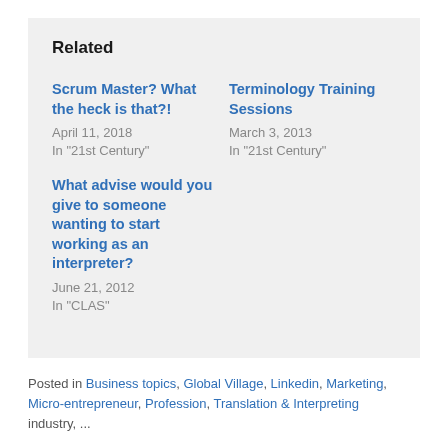Related
Scrum Master? What the heck is that?!
April 11, 2018
In "21st Century"
Terminology Training Sessions
March 3, 2013
In "21st Century"
What advise would you give to someone wanting to start working as an interpreter?
June 21, 2012
In "CLAS"
Posted in Business topics, Global Village, Linkedin, Marketing, Micro-entrepreneur, Profession, Translation & Interpreting industry, ...